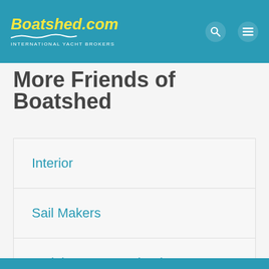Boatshed.com INTERNATIONAL YACHT BROKERS
More Friends of Boatshed
Interior
Sail Makers
Training & Sea Schools
Other Services